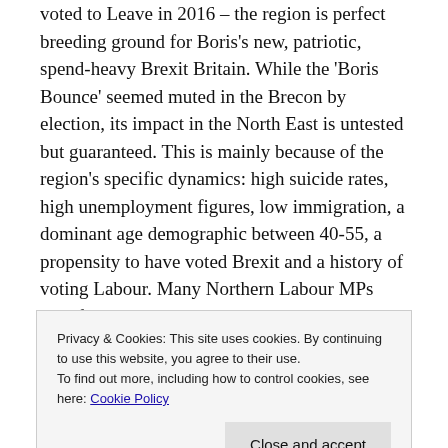voted to Leave in 2016 – the region is perfect breeding ground for Boris's new, patriotic, spend-heavy Brexit Britain. While the 'Boris Bounce' seemed muted in the Brecon by election, its impact in the North East is untested but guaranteed. This is mainly because of the region's specific dynamics: high suicide rates, high unemployment figures, low immigration, a dominant age demographic between 40-55, a propensity to have voted Brexit and a history of voting Labour. Many Northern Labour MPs now fear a general election precisely because they know they might get turfed out. It doesn't matter that Boris's promises are most likely bluster and will damage the North East in the long-run. All he needs is to get his no-deal over the line.
Privacy & Cookies: This site uses cookies. By continuing to use this website, you agree to their use. To find out more, including how to control cookies, see here: Cookie Policy
Close and accept
the North-East will be hardest hit by a No-Deal Brexit